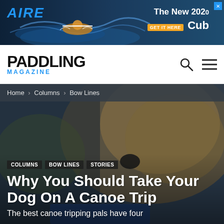[Figure (screenshot): AIRE brand advertisement banner showing rafting/kayaking action image with text 'The New 2020', 'GET IT HERE', 'Cub']
[Figure (logo): Paddling Magazine logo - PADDLING in bold black with MAGAZINE in blue below, search and menu icons on right]
Home › Columns › Bow Lines
COLUMNS   BOW LINES   STORIES
Why You Should Take Your Dog On A Canoe Trip
The best canoe tripping pals have four